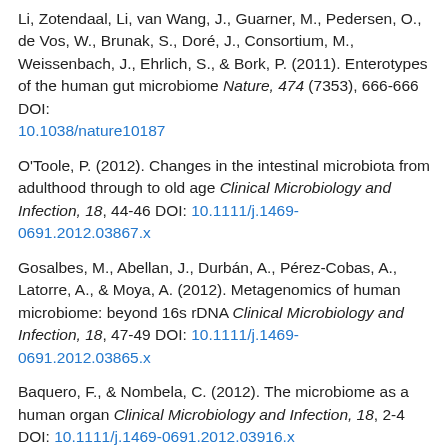Li, Zotendaal, Li, van Wang, J., Guarner, M., Pedersen, O., de Vos, W., Brunak, S., Doré, J., Consortium, M., Weissenbach, J., Ehrlich, S., & Bork, P. (2011). Enterotypes of the human gut microbiome Nature, 474 (7353), 666-666 DOI: 10.1038/nature10187
O'Toole, P. (2012). Changes in the intestinal microbiota from adulthood through to old age Clinical Microbiology and Infection, 18, 44-46 DOI: 10.1111/j.1469-0691.2012.03867.x
Gosalbes, M., Abellan, J., Durbán, A., Pérez-Cobas, A., Latorre, A., & Moya, A. (2012). Metagenomics of human microbiome: beyond 16s rDNA Clinical Microbiology and Infection, 18, 47-49 DOI: 10.1111/j.1469-0691.2012.03865.x
Baquero, F., & Nombela, C. (2012). The microbiome as a human organ Clinical Microbiology and Infection, 18, 2-4 DOI: 10.1111/j.1469-0691.2012.03916.x
Salonen, A., Salojärvi, J., Lahti, L., & de Vos, W. (2012). The adult intestinal core microbiota is determined by analysis...